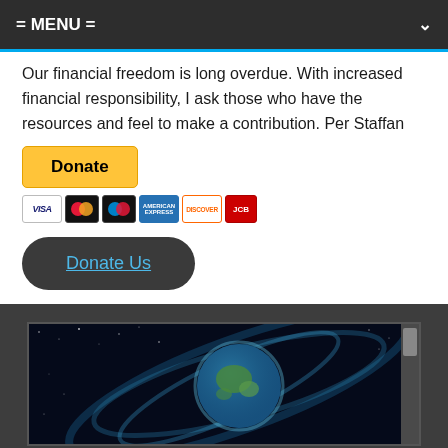= MENU =
Our financial freedom is long overdue. With increased financial responsibility, I ask those who have the resources and feel to make a contribution. Per Staffan
[Figure (other): PayPal Donate button (yellow) with payment card icons below (Visa, Mastercard, Maestro, American Express, Discover, and another card)]
[Figure (other): Dark rounded button labeled 'Donate Us' with cyan/blue underlined text]
[Figure (photo): Photo of Earth in space surrounded by swirling blue light streams and stars, inside a dark framed panel]